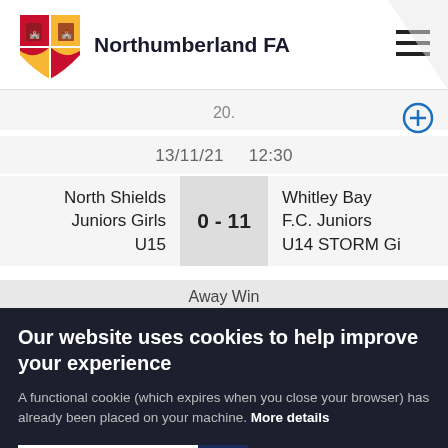Northumberland FA
20.
13/11/21   12:30
| Home | Score | Away |
| --- | --- | --- |
| North Shields Juniors Girls U15 | 0 - 11 | Whitley Bay F.C. Juniors U14 STORM Gi |
Away Win
Our website uses cookies to help improve your experience
A functional cookie (which expires when you close your browser) has already been placed on your machine. More details
ACCEPT COOKIES